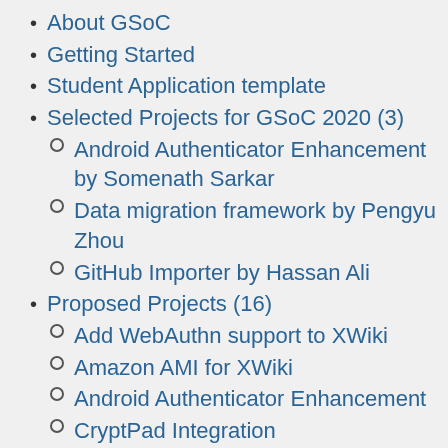About GSoC
Getting Started
Student Application template
Selected Projects for GSoC 2020 (3)
Android Authenticator Enhancement by Somenath Sarkar
Data migration framework by Pengyu Zhou
GitHub Importer by Hassan Ali
Proposed Projects (16)
Add WebAuthn support to XWiki
Amazon AMI for XWiki
Android Authenticator Enhancement
CryptPad Integration
Data migration framework
GitHub Importer
Implement PDF export with XHTML and paged CSS
Improve DokuWiki Importer
Improve XWiki docker and Kubernetes Helm chart
Javascript Visualizations Integrations
JCR attachment store and storage